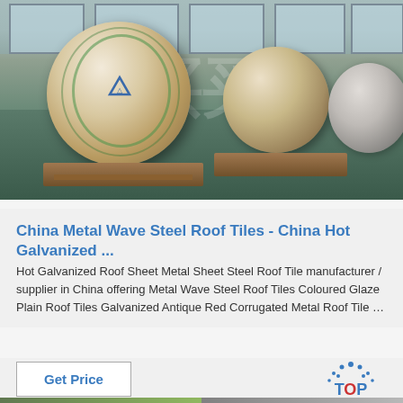[Figure (photo): Warehouse interior showing large cylindrical steel coil rolls wrapped in brown paper and secured with green straps, sitting on wooden pallets on a green-tinted concrete floor. Multiple rolls visible, with natural light from windows in background.]
China Metal Wave Steel Roof Tiles - China Hot Galvanized ...
Hot Galvanized Roof Sheet Metal Sheet Steel Roof Tile manufacturer / supplier in China offering Metal Wave Steel Roof Tiles Coloured Glaze Plain Roof Tiles Galvanized Antique Red Corrugated Metal Roof Tile …
Get Price